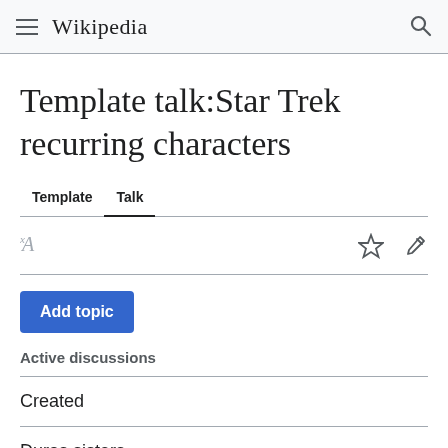≡ WIKIPEDIA 🔍
Template talk:Star Trek recurring characters
Template   Talk
Add topic
Active discussions
Created
Duras sisters